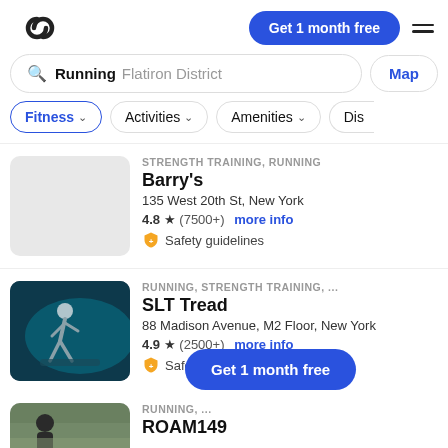Get 1 month free
Running   Flatiron District   Map
Fitness   Activities   Amenities   Dis
STRENGTH TRAINING, RUNNING
Barry's
135 West 20th St, New York
4.8 ★ (7500+) more info
Safety guidelines
RUNNING, STRENGTH TRAINING, ...
SLT Tread
88 Madison Avenue, M2 Floor, New York
4.9 ★ (2500+) more info
Safety guidelines
Get 1 month free
RUNNING, ...
ROAM149